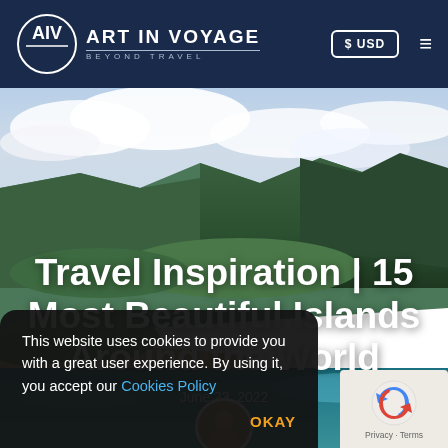ART IN VOYAGE — BEYOND TRAVEL | $ USD
[Figure (screenshot): Hero photograph of a lush green tropical island coastline with dramatic cliffs, sandy beach, and turquoise ocean water under a partly cloudy sky.]
Travel Inspiration | 15 Most Beautiful Islands Around the World
June 23, 2022
This website uses cookies to provide you with a great user experience. By using it, you accept our Cookies Policy
OKAY